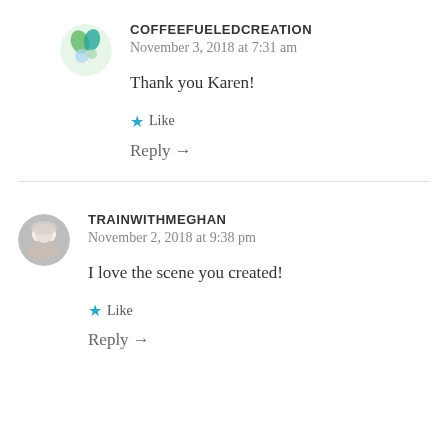[Figure (illustration): Round avatar with green and teal leaf/bubble design for COFFEEFUELEDCREATION]
COFFEEFUELEDCREATION
November 3, 2018 at 7:31 am
Thank you Karen!
★ Like
Reply →
[Figure (photo): Round avatar photo of a woman with white/blonde hair for TRAINWITHMEGHAN]
TRAINWITHMEGHAN
November 2, 2018 at 9:38 pm
I love the scene you created!
★ Like
Reply →